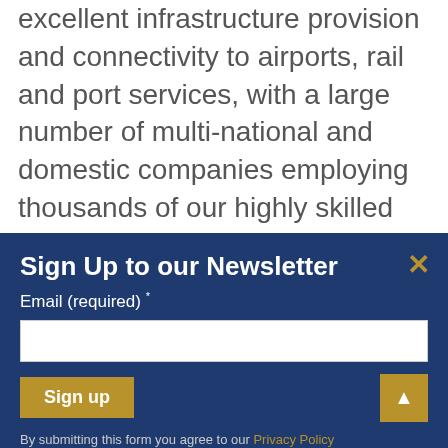excellent infrastructure provision and connectivity to airports, rail and port services, with a large number of multi-national and domestic companies employing thousands of our highly skilled workforce, Kildare represents a driving force in the national economy and preforms a key role in ensuring the continued international competitiveness of the region. In order to achieve this the development plan must ensure the conditions are right for the creation of quality jobs in
Sign Up to our Newsletter
Email (required) *
By submitting this form you agree to our Privacy Policy